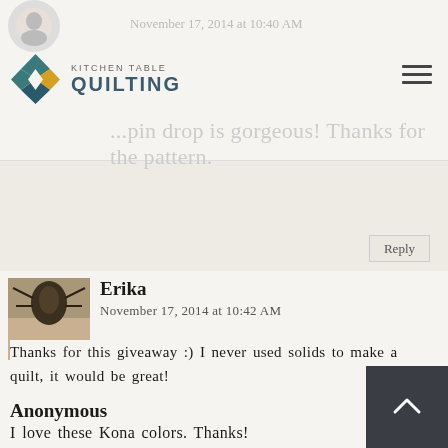Kitchen Table Quilting
November 17, 2014 at 10:40 AM
...pin drop is gorgeous! Thanks for the pattern.
Reply
[Figure (photo): Avatar photo of Erika - close up nature/insect photo]
Erika
November 17, 2014 at 10:42 AM
Thanks for this giveaway :) I never used solids to make a quilt, it would be great!
Reply
Anonymous
November 17, 2014 at 10:43 AM
I love these Kona colors. Thanks!